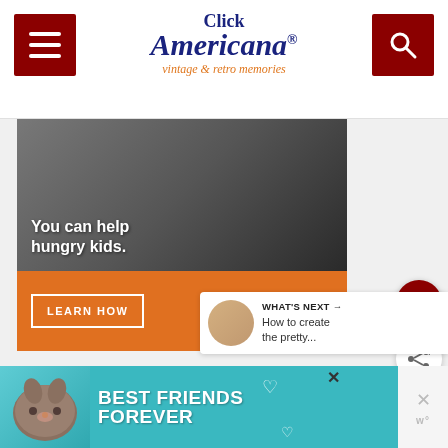Click Americana® vintage & retro memories
[Figure (photo): No Kid Hungry advertisement banner showing a young child eating, with text 'You can help hungry kids.' and 'LEARN HOW' button and No Kid Hungry logo on orange background]
[Figure (infographic): What's Next panel showing thumbnail and text 'How to create the pretty...']
[Figure (photo): Best Friends Forever advertisement banner with cat photo on teal background]